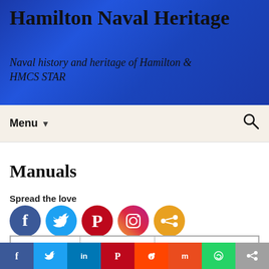Hamilton Naval Heritage
Naval history and heritage of Hamilton & HMCS STAR
Menu ▼
Manuals
Spread the love
[Figure (other): Social media share icons: Facebook, Twitter, Pinterest, Instagram, Share]
| HNHA # | Description | Details |
| --- | --- | --- |
[Figure (other): Bottom social bar with icons: Facebook, Twitter, LinkedIn, Pinterest, Reddit, Mix, WhatsApp, Share]